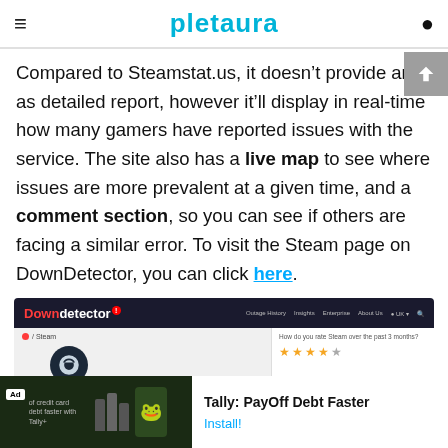pletaura
Compared to Steamstat.us, it doesn't provide an as detailed report, however it'll display in real-time how many gamers have reported issues with the service. The site also has a live map to see where issues are more prevalent at a given time, and a comment section, so you can see if others are facing a similar error. To visit the Steam page on DownDetector, you can click here.
[Figure (screenshot): Screenshot of the DownDetector website showing the Steam outage page, with the DownDetector logo, navigation links, and a Steam icon, plus a rating widget on the right.]
[Figure (screenshot): Advertisement banner for Tally: PayOff Debt Faster app with an Install button.]